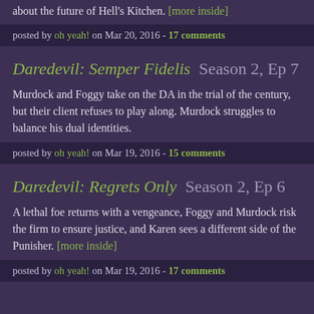about the future of Hell's Kitchen. [more inside]
posted by oh yeah! on Mar 20, 2016 - 17 comments
Daredevil: Semper Fidelis  Season 2, Ep 7
Murdock and Foggy take on the DA in the trial of the century, but their client refuses to play along. Murdock struggles to balance his dual identities.
posted by oh yeah! on Mar 19, 2016 - 15 comments
Daredevil: Regrets Only  Season 2, Ep 6
A lethal foe returns with a vengeance, Foggy and Murdock risk the firm to ensure justice, and Karen sees a different side of the Punisher. [more inside]
posted by oh yeah! on Mar 19, 2016 - 17 comments